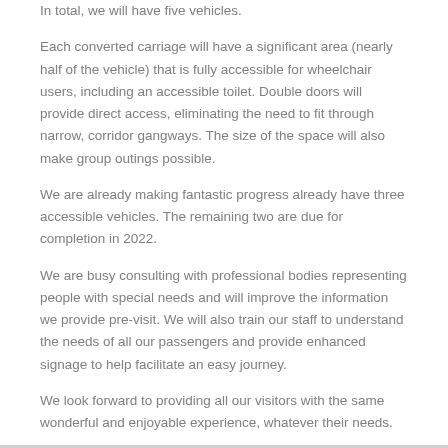In total, we will have five vehicles.
Each converted carriage will have a significant area (nearly half of the vehicle) that is fully accessible for wheelchair users, including an accessible toilet. Double doors will provide direct access, eliminating the need to fit through narrow, corridor gangways. The size of the space will also make group outings possible.
We are already making fantastic progress already have three accessible vehicles. The remaining two are due for completion in 2022.
We are busy consulting with professional bodies representing people with special needs and will improve the information we provide pre-visit. We will also train our staff to understand the needs of all our passengers and provide enhanced signage to help facilitate an easy journey.
We look forward to providing all our visitors with the same wonderful and enjoyable experience, whatever their needs.